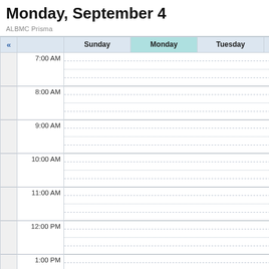Monday, September 4
ALBMC Prisma
| « |  | Sunday | Monday | Tuesday | Wednesday |
| --- | --- | --- | --- | --- | --- |
| 7:00 AM |  |  |  |  |  |
| 8:00 AM |  |  |  |  |  |
| 9:00 AM |  |  |  |  |  |
| 10:00 AM |  |  |  |  |  |
| 11:00 AM |  |  |  |  |  |
| 12:00 PM |  |  |  |  |  |
| 1:00 PM |  |  |  |  |  |